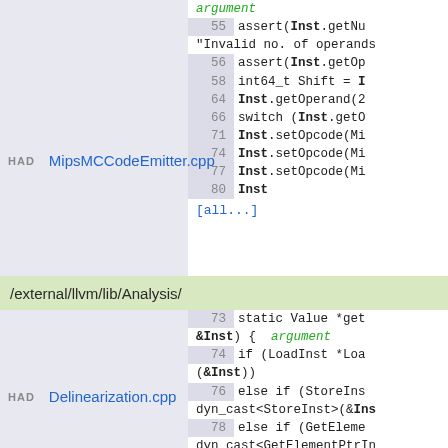HAD  MipsMCCodeEmitter.cpp
argument
55  assert(Inst.getNum...
"Invalid no. of operands...
56  assert(Inst.getOp...
58  int64_t Shift = I...
64  Inst.getOperand(2...
66  switch (Inst.getO...
71  Inst.setOpcode(Mi...
74  Inst.setOpcode(Mi...
77  Inst.setOpcode(Mi...
80  Inst
[all...]
/external/llvm/lib/Analysis/
HAD  Delinearization.cpp
73  static Value *get
&Inst) {  argument
74  if (LoadInst *Loa
(&Inst))
76  else if (StoreIns
dyn_cast<StoreInst>(&Ins...
78  else if (GetEleme
dyn_cast<GetElementPtrIn...
86  Instruction *Inst
89  if (!isa<StoreIns
(Inst) &&